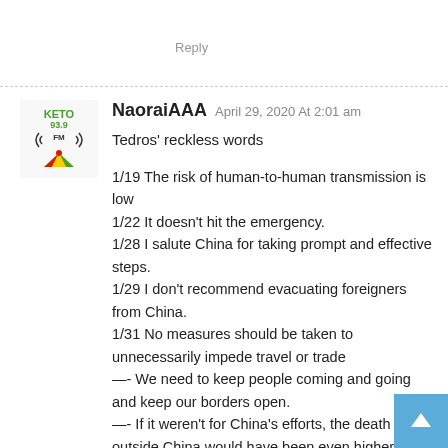Reply
[Figure (logo): KETO 93.9 FM radio station logo with radio tower icon and red/green/yellow triangle]
NaoraiAAA April 29, 2020 At 2:01 am
Tedros' reckless words
1/19 The risk of human-to-human transmission is low
1/22 It doesn't hit the emergency.
1/28 I salute China for taking prompt and effective steps.
1/29 I don't recommend evacuating foreigners from China.
1/31 No measures should be taken to unnecessarily impede travel or trade
—- We need to keep people coming and going and keep our borders open.
—- If it weren't for China's efforts, the death toll outside China would have been even higher.
—- China's response has set a new standard for infectious disease control
—- We have China to thank for the low number of infected people outside of China